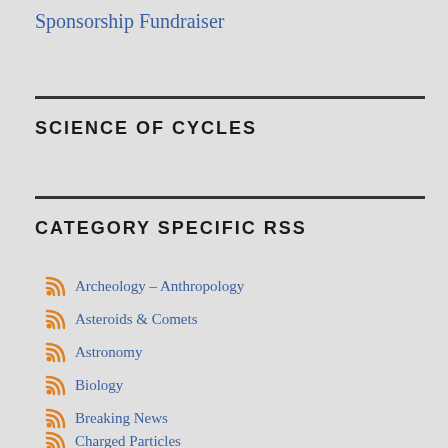Sponsorship Fundraiser
SCIENCE OF CYCLES
CATEGORY SPECIFIC RSS
Archeology – Anthropology
Asteroids & Comets
Astronomy
Biology
Breaking News
Charged Particles